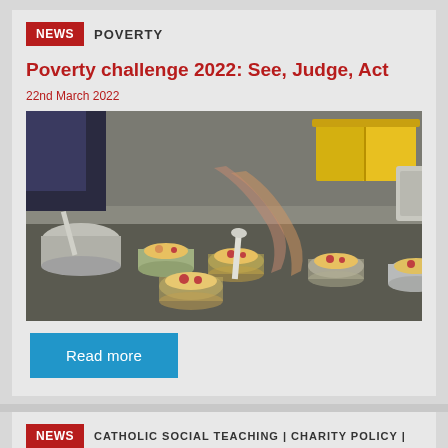NEWS | POVERTY
Poverty challenge 2022: See, Judge, Act
22nd March 2022
[Figure (photo): Person preparing food in small colorful bowls on a kitchen counter]
Read more
NEWS | CATHOLIC SOCIAL TEACHING | CHARITY POLICY |